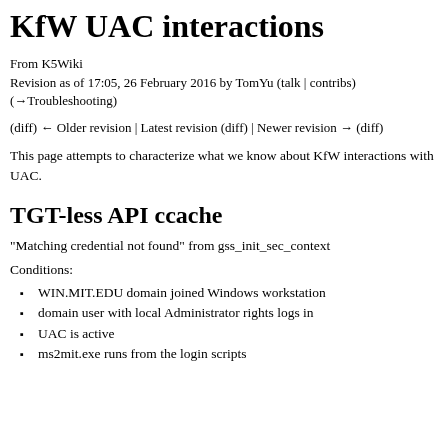KfW UAC interactions
From K5Wiki
Revision as of 17:05, 26 February 2016 by TomYu (talk | contribs)
(→Troubleshooting)
(diff) ← Older revision | Latest revision (diff) | Newer revision → (diff)
This page attempts to characterize what we know about KfW interactions with UAC.
TGT-less API ccache
"Matching credential not found" from gss_init_sec_context
Conditions:
WIN.MIT.EDU domain joined Windows workstation
domain user with local Administrator rights logs in
UAC is active
ms2mit.exe runs from the login scripts